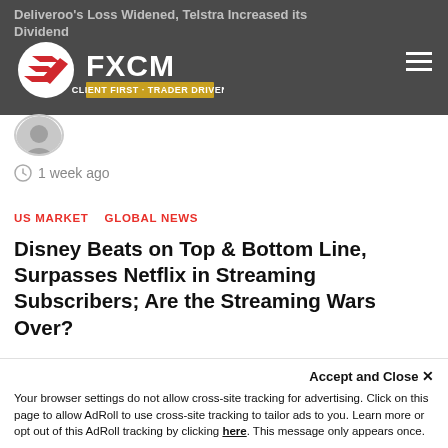Deliveroo's Loss Widened, Telstra Increased its Dividend
[Figure (logo): FXCM logo with tagline CLIENT FIRST · TRADER DRIVEN]
[Figure (photo): Author avatar photo (partially visible, cropped)]
1 week ago
US MARKET   GLOBAL NEWS
Disney Beats on Top & Bottom Line, Surpasses Netflix in Streaming Subscribers; Are the Streaming Wars Over?
[Figure (photo): Author avatar photo - male in suit]
2 weeks ago
Accept and Close ✕
Your browser settings do not allow cross-site tracking for advertising. Click on this page to allow AdRoll to use cross-site tracking to tailor ads to you. Learn more or opt out of this AdRoll tracking by clicking here. This message only appears once.